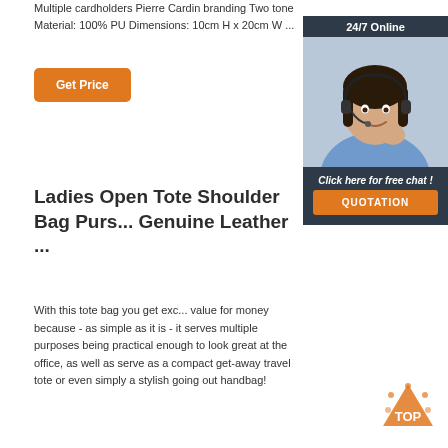Multiple cardholders Pierre Cardin branding Two tone Material: 100% PU Dimensions: 10cm H x 20cm W ...
Get Price
[Figure (photo): Customer service representative with headset, smiling, with 24/7 Online banner and chat panel overlay showing 'Click here for free chat!' and QUOTATION button]
Ladies Open Tote Shoulder Bag Purs... Genuine Leather ...
With this tote bag you get exc... value for money because - as simple as it is - it serves multiple purposes being practical enough to look great at the office, as well as serve as a compact get-away travel tote or even simply a stylish going out handbag!
[Figure (logo): TOP badge logo in orange and white with dots]